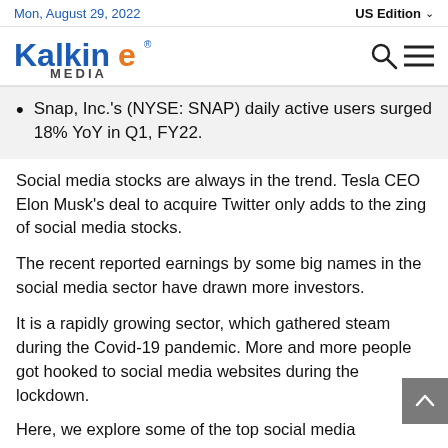Mon, August 29, 2022   US Edition
[Figure (logo): Kalkine Media logo with blue and orange text]
Snap, Inc.'s (NYSE: SNAP) daily active users surged 18% YoY in Q1, FY22.
Social media stocks are always in the trend. Tesla CEO Elon Musk's deal to acquire Twitter only adds to the zing of social media stocks.
The recent reported earnings by some big names in the social media sector have drawn more investors.
It is a rapidly growing sector, which gathered steam during the Covid-19 pandemic. More and more people got hooked to social media websites during the lockdown.
Here, we explore some of the top social media